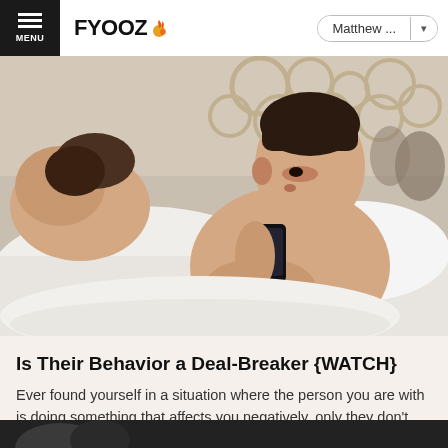MENU | FYOOZ | Matthew ...
[Figure (photo): A shirtless man lying in bed looking at his smartphone, with a woman lying with her back turned beside him. Ornate headboard visible in background.]
Is Their Behavior a Deal-Breaker {WATCH}
Ever found yourself in a situation where the person you are with is doing something that affects you negatively, only they don't see it as a big deal? They tell you they don't think they're doi...
[Figure (photo): Partial image of another article or content item at the bottom of the page.]